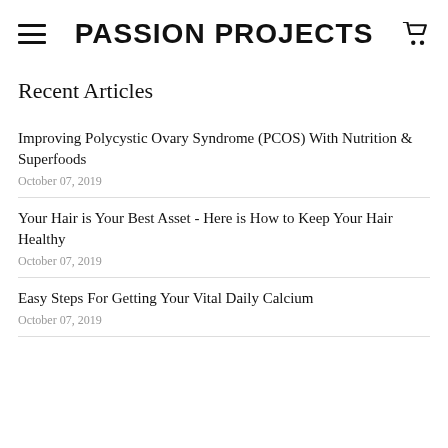PASSION PROJECTS
Recent Articles
Improving Polycystic Ovary Syndrome (PCOS) With Nutrition & Superfoods
October 07, 2019
Your Hair is Your Best Asset - Here is How to Keep Your Hair Healthy
October 07, 2019
Easy Steps For Getting Your Vital Daily Calcium
October 07, 2019